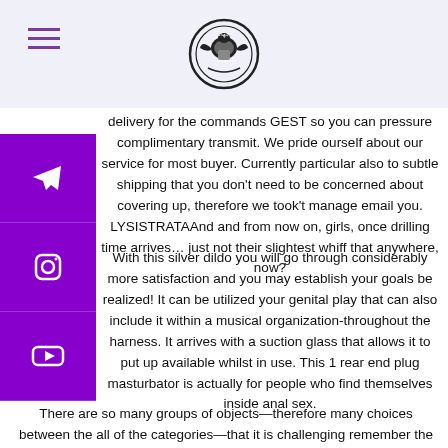[Logo: Jihad emblem with Arabic text]
delivery for the commands GEST so you can pressure complimentary transmit. We pride ourself about our service for most buyer. Currently particular also to subtle shipping that you don't need to be concerned about covering up, therefore we took't manage email you. LYSISTRATAAnd and from now on, girls, once drilling time arrives… just not their slightest whiff that anywhere, now?
With this silver dildo you will go through considerably more satisfaction and you may establish your goals be realized! It can be utilized your genital play that can also include it within a musical organization-throughout the harness. It arrives with a suction glass that allows it to put up available whilst in use. This 1 rear end plug masturbator is actually for people who find themselves inside anal sex.
There are so many groups of objects—therefore many choices between the all of the categories—that it is challenging remember the fact that just what dominated me to shot dildo available in the first place. And when Now i am that are dependable, in some cases I don't you may need those including silver, but not me…At times being true, you'll…